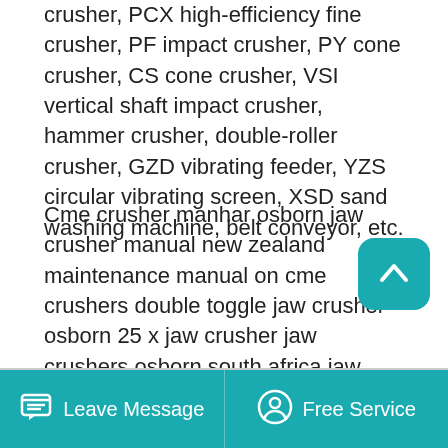crusher, PCX high-efficiency fine crusher, PF impact crusher, PY cone crusher, CS cone crusher, VSI vertical shaft impact crusher, hammer crusher, double-roller crusher, GZD vibrating feeder, YZS circular vibrating screen, XSD sand washing machine, belt conveyor, etc.
Cme crusher manhar osborn jaw crusher manual new zealand maintenance manual on cme crushers double toggle jaw crusher osborn 25 x jaw crusher jaw crushers osborn south africa jaw crushers process medium to hard quarry rock or other materials by the fixed jaw is an integral part of the crusher frame new managing director for . View.
Read More →
Leave Message   Free Service